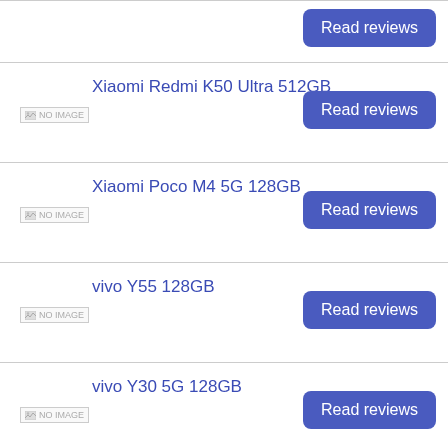[Figure (screenshot): Product listing row with Read reviews button (partial top row)]
Xiaomi Redmi K50 Ultra 512GB
[Figure (other): NO IMAGE placeholder]
Read reviews
Xiaomi Poco M4 5G 128GB
[Figure (other): NO IMAGE placeholder]
Read reviews
vivo Y55 128GB
[Figure (other): NO IMAGE placeholder]
Read reviews
vivo Y30 5G 128GB
[Figure (other): NO IMAGE placeholder]
Read reviews